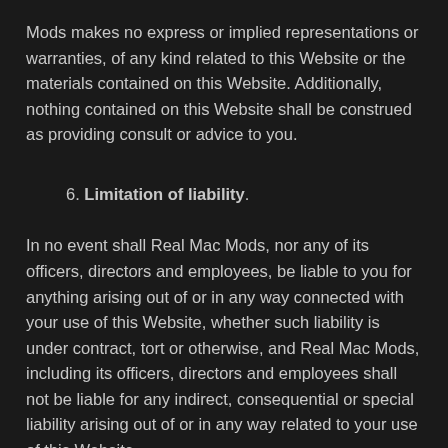Mods makes no express or implied representations or warranties, of any kind related to this Website or the materials contained on this Website. Additionally, nothing contained on this Website shall be construed as providing consult or advice to you.
6. Limitation of liability.
In no event shall Real Mac Mods, nor any of its officers, directors and employees, be liable to you for anything arising out of or in any way connected with your use of this Website, whether such liability is under contract, tort or otherwise, and Real Mac Mods, including its officers, directors and employees shall not be liable for any indirect, consequential or special liability arising out of or in any way related to your use of this Website.
7. Indemnification.